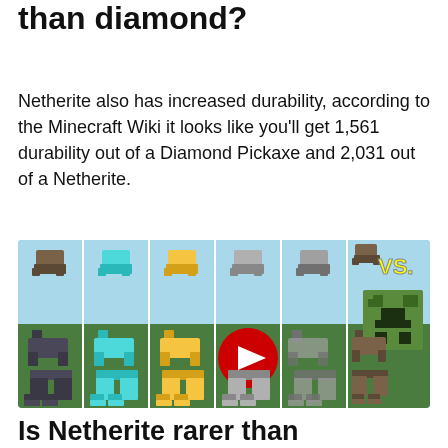than diamond?
Netherite also has increased durability, according to the Minecraft Wiki it looks like you'll get 1,561 durability out of a Diamond Pickaxe and 2,031 out of a Netherite.
[Figure (screenshot): YouTube video thumbnail showing Minecraft armor types (leather, chainmail, gold, iron, diamond, netherite) in rows for helmet, chestplate, leggings, and boots, with a red YouTube play button in the center and a Creeper on the right side, labeled VS. in yellow text]
Is Netherite rarer than diamond?